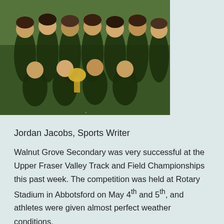[Figure (photo): Group photo of female athletes in green uniforms posing together with a trophy on grass]
Jordan Jacobs, Sports Writer
Walnut Grove Secondary was very successful at the Upper Fraser Valley Track and Field Championships this past week. The competition was held at Rotary Stadium in Abbotsford on May 4th and 5th, and athletes were given almost perfect weather conditions.
This track meet was crucial for any gators who wanted to continue on to the Fraser Valley Championships and then hopefully, the Provincial Championships held in Nanaimo.